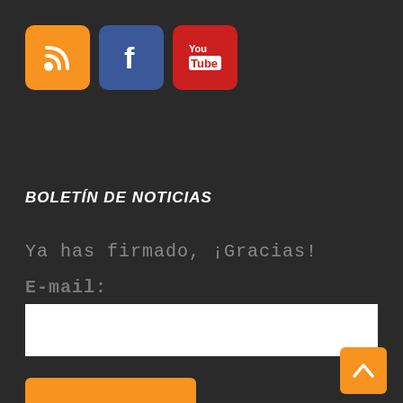[Figure (logo): Three social media icon buttons: RSS (orange), Facebook (blue), YouTube (red)]
BOLETÍN DE NOTICIAS
Ya has firmado, ¡Gracias!
E-mail:
[Figure (other): White email input text field]
[Figure (other): Orange ENVIAR submit button]
[Figure (other): Orange back-to-top arrow button in bottom right corner]